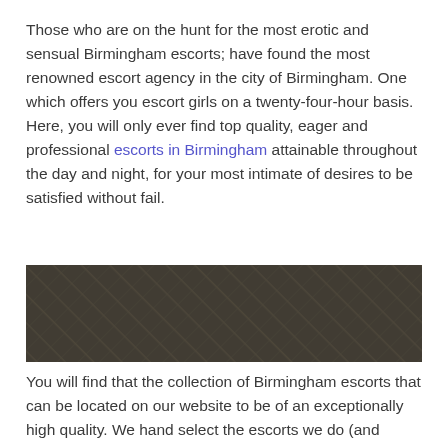Those who are on the hunt for the most erotic and sensual Birmingham escorts; have found the most renowned escort agency in the city of Birmingham. One which offers you escort girls on a twenty-four-hour basis. Here, you will only ever find top quality, eager and professional escorts in Birmingham attainable throughout the day and night, for your most intimate of desires to be satisfied without fail.
[Figure (photo): Dark textured background image, appears to be a close-up of dark fabric or material]
You will find that the collection of Birmingham escorts that can be located on our website to be of an exceptionally high quality. We hand select the escorts we do (and don't) work with, to ensure that each girl on